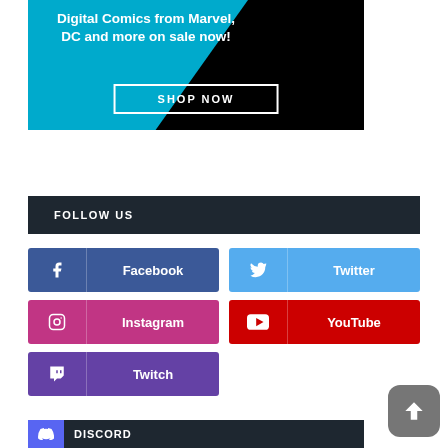[Figure (illustration): Advertisement banner: teal and black background with white bold text reading 'Digital Comics from Marvel, DC and more on sale now!' and a 'SHOP NOW' button with white border.]
FOLLOW US
[Figure (infographic): Social media follow buttons: Facebook (blue), Twitter (light blue), Instagram (pink/magenta), YouTube (red), Twitch (purple). Each button has icon and label. A scroll-to-top button in grey is in the bottom right. A Discord bar is partially visible at the bottom.]